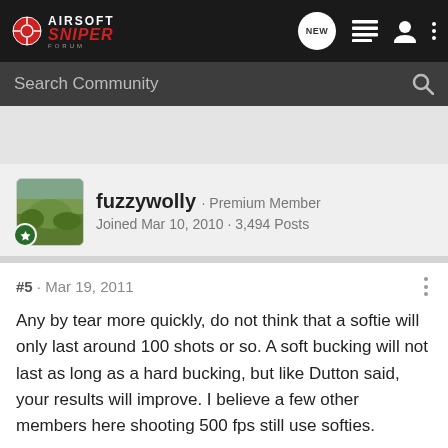Airsoft Sniper Forum
Search Community
fuzzywolly · Premium Member
Joined Mar 10, 2010 · 3,494 Posts
#5 · Mar 19, 2011
Any by tear more quickly, do not think that a softie will only last around 100 shots or so. A soft bucking will not last as long as a hard bucking, but like Dutton said, your results will improve. I believe a few other members here shooting 500 fps still use softies.